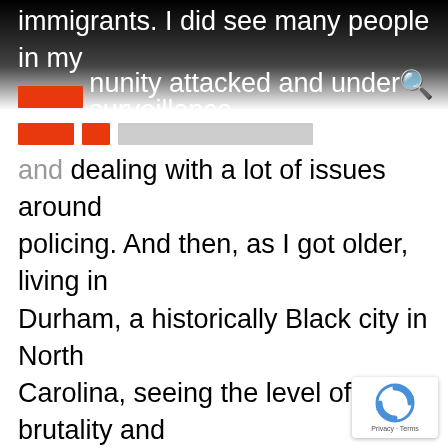immigrants. I did see many people in my community attacked and under surveillance and dealing with a lot of issues around policing. And then, as I got older, living in Durham, a historically Black city in North Carolina, seeing the level of brutality and persecution that Black community members, particularly underpaid workers in the community, experienced, really politicized me. And the last experience that felt really essential, in terms of what informs how I show up to this work, was working alongside fast food workers who were organizing for $15 an hour and a union. the Fight for $15 Campaign. And to see s of our most inspiring and courageous